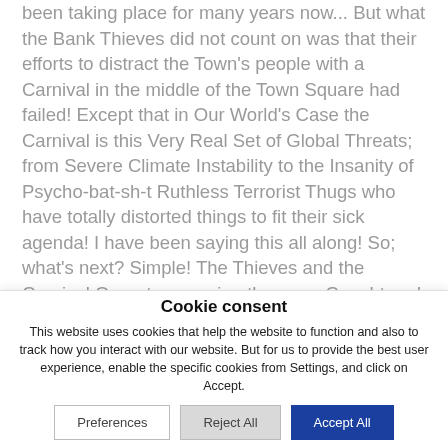been taking place for many years now... But what the Bank Thieves did not count on was that their efforts to distract the Town's people with a Carnival in the middle of the Town Square had failed! Except that in Our World's Case the Carnival is this Very Real Set of Global Threats; from Severe Climate Instability to the Insanity of Psycho-bat-sh-t Ruthless Terrorist Thugs who have totally distorted things to fit their sick agenda! I have been saying this all along! So; what's next? Simple! The Thieves and the Carnival Operators serving them are Caught and are offered one of two options: either they nice and slowly, but not too slowly, begin to return most of what they have been Stealing and all the other items of...
Cookie consent
This website uses cookies that help the website to function and also to track how you interact with our website. But for us to provide the best user experience, enable the specific cookies from Settings, and click on Accept.